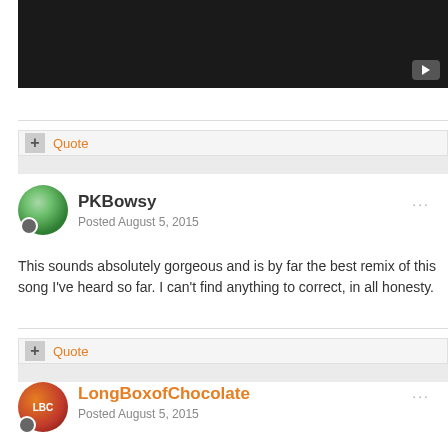[Figure (screenshot): Dark video player area with YouTube play button icon in bottom right]
Quote
PKBowsy
Posted August 5, 2015
This sounds absolutely gorgeous and is by far the best remix of this song I've heard so far. I can't find anything to correct, in all honesty.
Quote
LongBoxofChocolate
Posted August 5, 2015